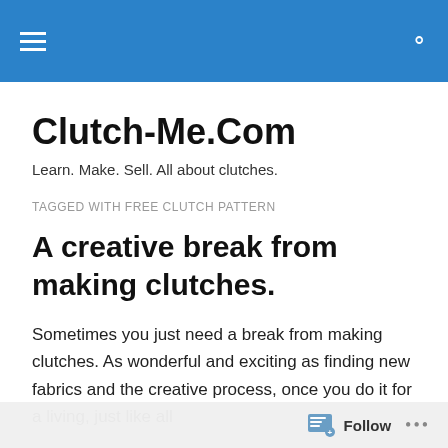Clutch-Me.Com navigation header with hamburger menu and search icon
Clutch-Me.Com
Learn. Make. Sell. All about clutches.
TAGGED WITH FREE CLUTCH PATTERN
A creative break from making clutches.
Sometimes you just need a break from making clutches. As wonderful and exciting as finding new fabrics and the creative process, once you do it for a living, just like all
Follow ...